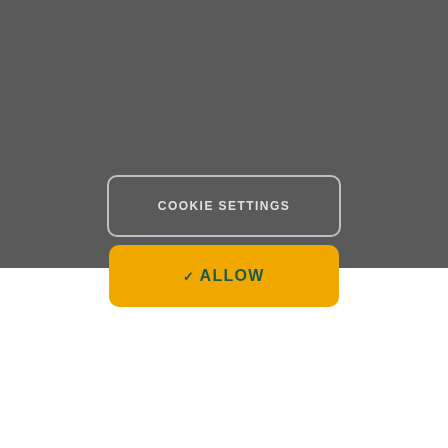We use cookies to offer you a better browsing experience, analyze site traffic, and personalize content. Read about how we use cookies and how you can control them by visiting our Cookie Settings page. If you continue to use this site, you consent to our use of cookies.
COOKIE SETTINGS
✓ ALLOW
health system. Our hybrid rotational based program includes iopportunities for project leadership as you rotate and work in various parts of the organization.